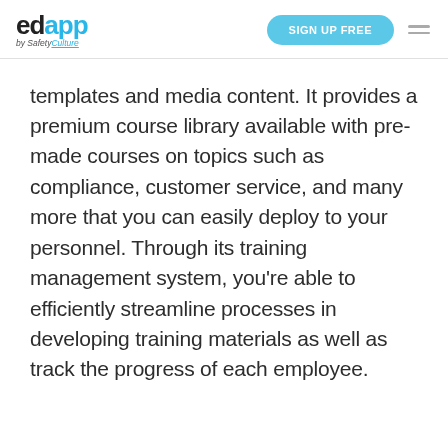edapp by SafetyCulture | SIGN UP FREE
templates and media content. It provides a premium course library available with pre-made courses on topics such as compliance, customer service, and many more that you can easily deploy to your personnel. Through its training management system, you’re able to efficiently streamline processes in developing training materials as well as track the progress of each employee.